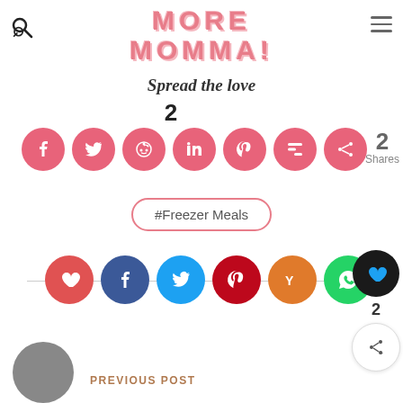MORE MOMMA!
Spread the love
2
[Figure (infographic): Row of 7 pink social media share buttons (Facebook, Twitter, Reddit, LinkedIn, Pinterest, Mix, Share) with a '2 Shares' count badge]
#Freezer Meals
[Figure (infographic): Row of 6 colored social media buttons (heart/like in red, Facebook in dark blue, Twitter in light blue, Pinterest in dark red, Yum in orange, WhatsApp in green) with a horizontal divider line]
[Figure (infographic): Right-side floating panel with heart button (dark circle), number 2, and share button]
PREVIOUS POST